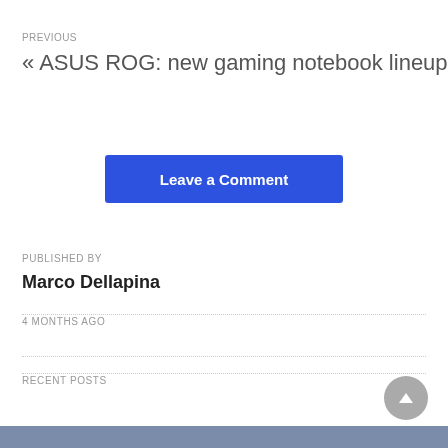PREVIOUS
« ASUS ROG: new gaming notebook lineup
Leave a Comment
PUBLISHED BY
Marco Dellapina
4 MONTHS AGO
RECENT POSTS